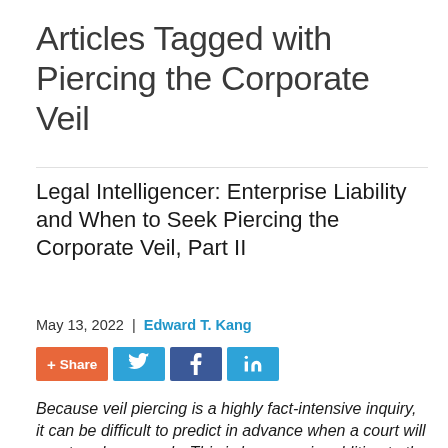Articles Tagged with Piercing the Corporate Veil
Legal Intelligencer: Enterprise Liability and When to Seek Piercing the Corporate Veil, Part II
May 13, 2022 | Edward T. Kang
[Figure (other): Social sharing buttons: + Share (orange), Twitter bird icon (light blue), Facebook f icon (dark blue), LinkedIn in icon (light blue)]
Because veil piercing is a highly fact-intensive inquiry, it can be difficult to predict in advance when a court will grant such a remedy. This is because, in addition to the multi-factor analysis that often goes into the decision of whether to pierce, there are also a variety of different forms